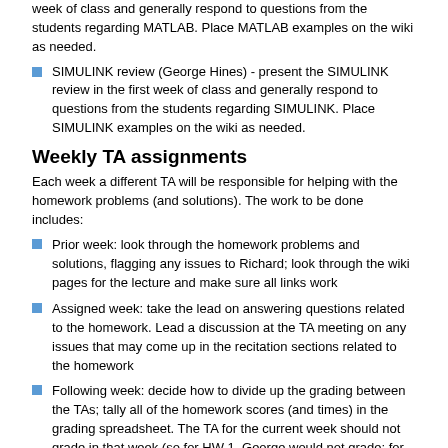week of class and generally respond to questions from the students regarding MATLAB. Place MATLAB examples on the wiki as needed.
SIMULINK review (George Hines) - present the SIMULINK review in the first week of class and generally respond to questions from the students regarding SIMULINK. Place SIMULINK examples on the wiki as needed.
Weekly TA assignments
Each week a different TA will be responsible for helping with the homework problems (and solutions). The work to be done includes:
Prior week: look through the homework problems and solutions, flagging any issues to Richard; look through the wiki pages for the lecture and make sure all links work
Assigned week: take the lead on answering questions related to the homework. Lead a discussion at the TA meeting on any issues that may come up in the recitation sections related to the homework
Following week: decide how to divide up the grading between the TAs; tally all of the homework scores (and times) in the grading spreadsheet. The TA for the current week should not grade in that week (so for HW 1, George would not grade; for HW 2, Elisa would not grade, etc).
Week 1 - Luis Soto
Week 2 - George Hines
Week 3 - Elisa Franco
Week 6 - Luis Soto
Week 7 - George Hines
Week 8 - Elisa Franco